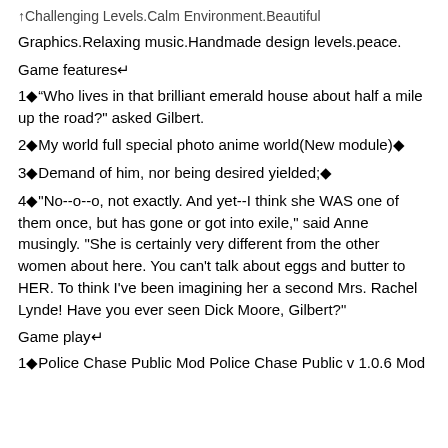↑Challenging Levels.Calm Environment.Beautiful
Graphics.Relaxing music.Handmade design levels.peace.
Game features↵
1◆"Who lives in that brilliant emerald house about half a mile up the road?" asked Gilbert.
2◆My world full special photo anime world(New module)◆
3◆Demand of him, nor being desired yielded;◆
4◆"No--o--o, not exactly. And yet--I think she WAS one of them once, but has gone or got into exile," said Anne musingly. "She is certainly very different from the other women about here. You can't talk about eggs and butter to HER. To think I've been imagining her a second Mrs. Rachel Lynde! Have you ever seen Dick Moore, Gilbert?"
Game play↵
1◆Police Chase Public Mod Police Chase Public v 1.0.6 Mod